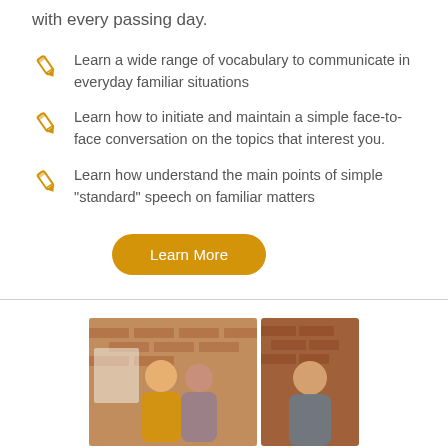with every passing day.
Learn a wide range of vocabulary to communicate in everyday familiar situations
Learn how to initiate and maintain a simple face-to-face conversation on the topics that interest you.
Learn how understand the main points of simple "standard" speech on familiar matters
Learn More
[Figure (photo): Two photos side by side: left shows a man and woman smiling and looking at something together in front of a brick wall; right shows a man looking down, also in front of a brick wall.]